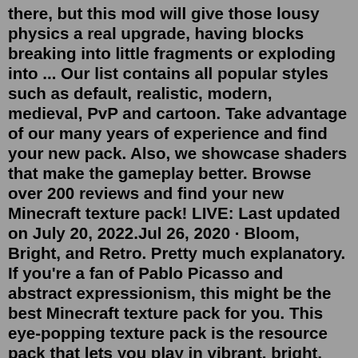there, but this mod will give those lousy physics a real upgrade, having blocks breaking into little fragments or exploding into ... Our list contains all popular styles such as default, realistic, modern, medieval, PvP and cartoon. Take advantage of our many years of experience and find your new pack. Also, we showcase shaders that make the gameplay better. Browse over 200 reviews and find your new Minecraft texture pack! LIVE: Last updated on July 20, 2022.Jul 26, 2020 · Bloom, Bright, and Retro. Pretty much explanatory. If you're a fan of Pablo Picasso and abstract expressionism, this might be the best Minecraft texture pack for you. This eye-popping texture pack is the resource pack that lets you play in vibrant, bright, and captivating Nintendo-style vibes. In this video we show you some of the most popular texture packs and best resource packs available for Minecraft in 2021. Watch this until the end so you see... Check the files tab for the mod addons. If you are viewing this from curse.com you can switch to the